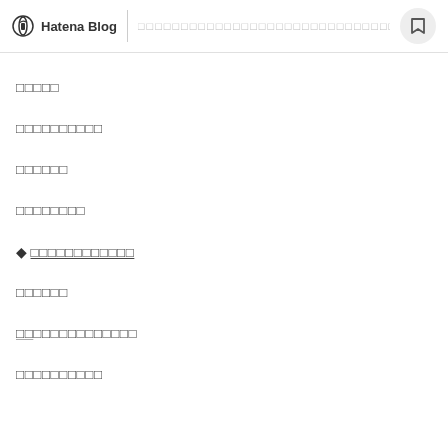Hatena Blog | □□□□□□□□□□□□□□□□□□□□□□□□□□□□□□
□□□□□
□□□□□□□□□□
□□□□□□
□□□□□□□□
◆□□□□□□□□□□□□
□□□□□□
□□□□□□□□□□□□□□
□□□□□□□□□□